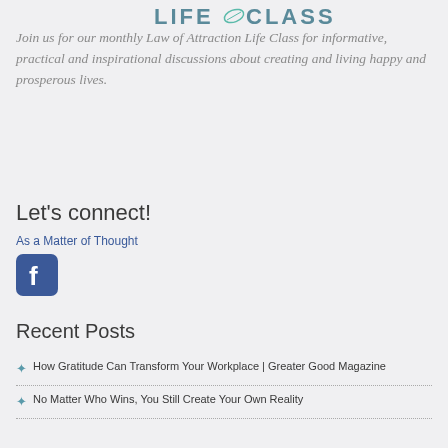[Figure (logo): Life Class logo with stylized text LIFE CLASS and teal/blue accent design]
Join us for our monthly Law of Attraction Life Class for informative, practical and inspirational discussions about creating and living happy and prosperous lives.
Let's connect!
As a Matter of Thought
[Figure (logo): Facebook logo icon — blue rounded square with white 'f']
Recent Posts
How Gratitude Can Transform Your Workplace | Greater Good Magazine
No Matter Who Wins, You Still Create Your Own Reality